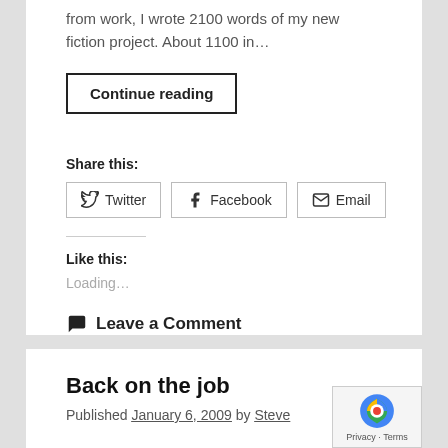from work, I wrote 2100 words of my new fiction project. About 1100 in…
Continue reading
Share this:
Twitter
Facebook
Email
Like this:
Loading…
Leave a Comment
Back on the job
Published January 6, 2009 by Steve